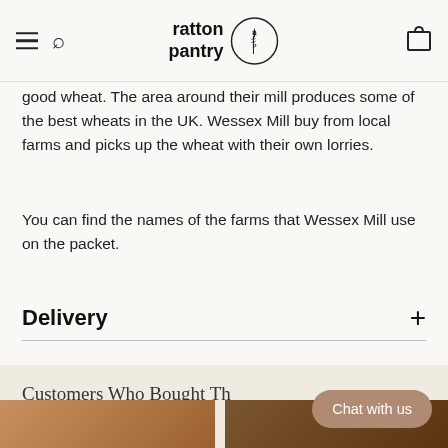ratton pantry
good wheat. The area around their mill produces some of the best wheats in the UK. Wessex Mill buy from local farms and picks up the wheat with their own lorries.
You can find the names of the farms that Wessex Mill use on the packet.
Delivery
Customers Who Bought This Also Bought...